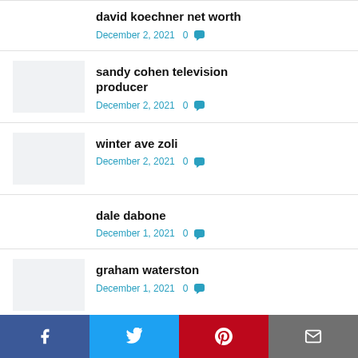david koechner net worth
December 2, 2021   0
sandy cohen television producer
December 2, 2021   0
winter ave zoli
December 2, 2021   0
dale dabone
December 1, 2021   0
graham waterston
December 1, 2021   0
Facebook  Twitter  Pinterest  Email